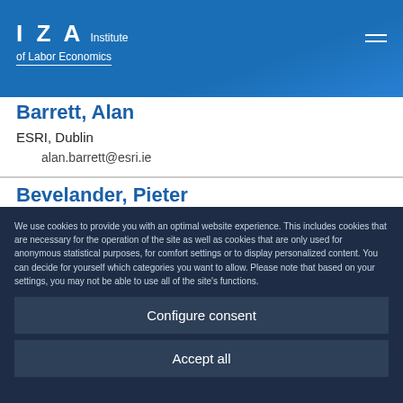IZA Institute of Labor Economics
Barrett, Alan
ESRI, Dublin
alan.barrett@esri.ie
Bevelander, Pieter
Malmö University
pieter.bevelander@mah.se
We use cookies to provide you with an optimal website experience. This includes cookies that are necessary for the operation of the site as well as cookies that are only used for anonymous statistical purposes, for comfort settings or to display personalized content. You can decide for yourself which categories you want to allow. Please note that based on your settings, you may not be able to use all of the site's functions.
Configure consent
Accept all